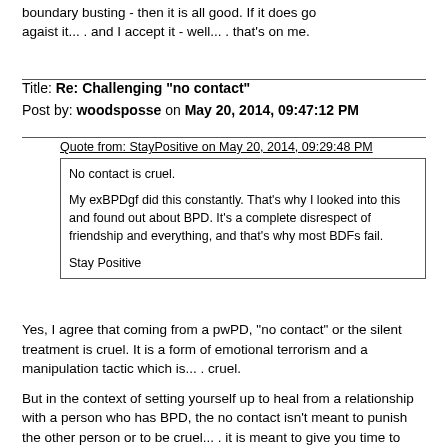boundary busting - then it is all good.  If it does go agaist it... . and I accept it - well... . that's on me.
Title: Re: Challenging "no contact"
Post by: woodsposse on May 20, 2014, 09:47:12 PM
Quote from: StayPositive on May 20, 2014, 09:29:48 PM
No contact is cruel.

My exBPDgf did this constantly. That's why I looked into this and found out about BPD. It's a complete disrespect of friendship and everything, and that's why most BDFs fail.

Stay Positive
Yes, I agree that coming from a pwPD, "no contact" or the silent treatment is cruel.  It is a form of emotional terrorism and a manipulation tactic which is... . cruel.

But in the context of setting yourself up to heal from a relationship with a person who has BPD, the no contact isn't meant to punish the other person or to be cruel... . it is meant to give you time to heal.

Think of it like this... .

If you were constantly in conflict with someone, everytime you are together or talk you get feelings hurt and self esteem drops, you are anxious and nervous and just generally don't know what to do and your head spins round and round... . the best thing to do would be